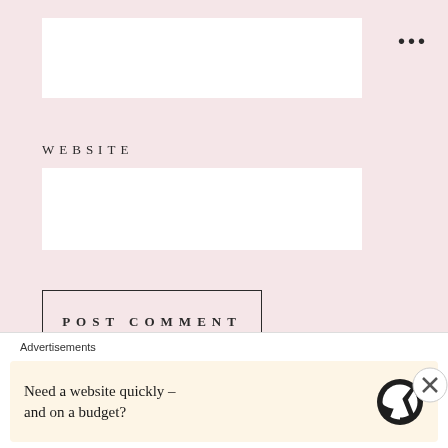WEBSITE
POST COMMENT
NOTIFY ME OF NEW COMMENTS VIA EMAIL.
NOTIFY ME OF NEW POSTS VIA
Advertisements
Need a website quickly – and on a budget?